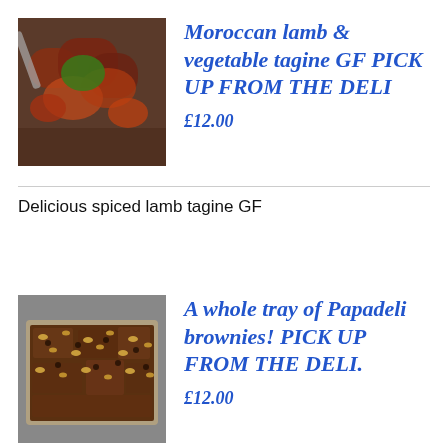[Figure (photo): Photo of Moroccan lamb and vegetable tagine dish in a tray]
Moroccan lamb & vegetable tagine GF PICK UP FROM THE DELI
£12.00
Delicious spiced lamb tagine GF
[Figure (photo): Photo of a tray of Papadeli brownies with nuts on top]
A whole tray of Papadeli brownies! PICK UP FROM THE DELI.
£12.00